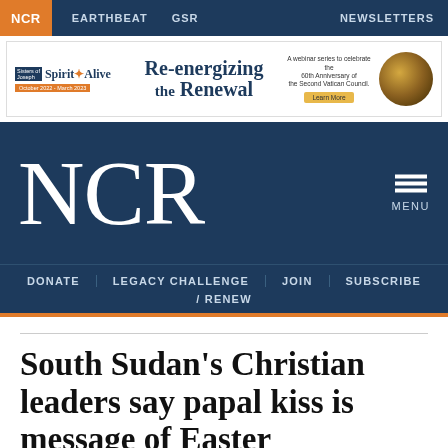NCR  EARTHBEAT  GSR  NEWSLETTERS
[Figure (infographic): Spirit Alive advertisement: Re-energizing the Renewal webinar series to celebrate the 60th Anniversary of the Second Vatican Council. October 2022 - March 2023.]
NCR
DONATE  LEGACY CHALLENGE  JOIN  SUBSCRIBE / RENEW
South Sudan's Christian leaders say papal kiss is message of Easter